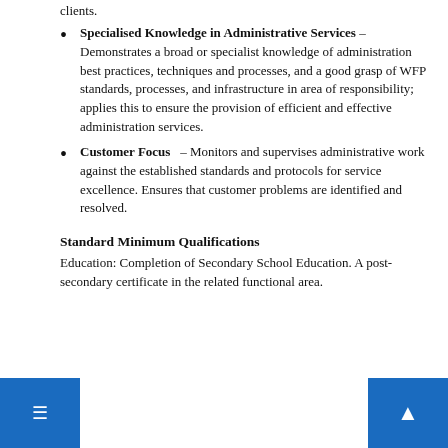clients.
Specialised Knowledge in Administrative Services – Demonstrates a broad or specialist knowledge of administration best practices, techniques and processes, and a good grasp of WFP standards, processes, and infrastructure in area of responsibility; applies this to ensure the provision of efficient and effective administration services.
Customer Focus – Monitors and supervises administrative work against the established standards and protocols for service excellence. Ensures that customer problems are identified and resolved.
Standard Minimum Qualifications
Education: Completion of Secondary School Education. A post-secondary certificate in the related functional area.